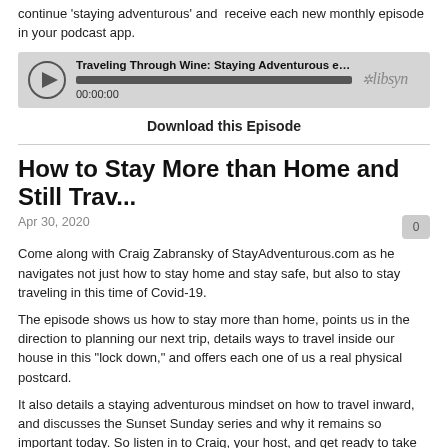continue 'staying adventurous' and receive each new monthly episode in your podcast app.
[Figure (screenshot): Podcast audio player showing episode 'Traveling Through Wine: Staying Adventurous ep 43: Expl...' with play button, progress bar at 00:00:00, and libsyn logo]
Download this Episode
How to Stay More than Home and Still Trav...
Apr 30, 2020
Come along with Craig Zabransky of StayAdventurous.com as he navigates not just how to stay home and stay safe, but also to stay traveling in this time of Covid-19.
The episode shows us how to stay more than home, points us in the direction to planning our next trip, details ways to travel inside our house in this "lock down," and offers each one of us a real physical postcard.
It also details a staying adventurous mindset on how to travel inward, and discusses the Sunset Sunday series and why it remains so important today. So listen in to Craig, your host, and get ready to take and make adventure even in this time of Covid-19.
For all the details on this episode please go search for the destination...